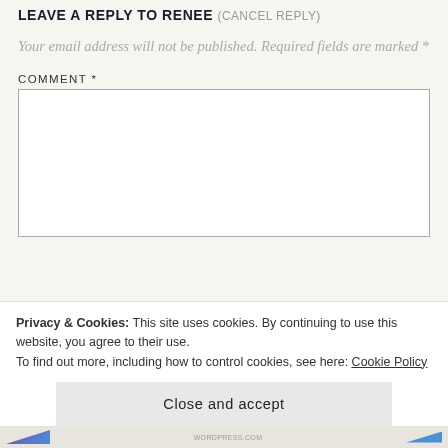LEAVE A REPLY TO RENEE (CANCEL REPLY)
Your email address will not be published. Required fields are marked *
COMMENT *
[Figure (screenshot): Empty comment text area input box with gray border]
Privacy & Cookies: This site uses cookies. By continuing to use this website, you agree to their use.
To find out more, including how to control cookies, see here: Cookie Policy
Close and accept